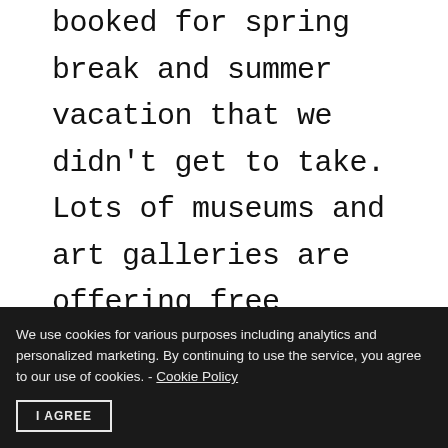booked for spring break and summer vacation that we didn't get to take. Lots of museums and art galleries are offering free virtual tours of their exhibitions, so your kids can enjoy them from home. Hopefully taking a virtual tour of these museums will help soften the blow and provide education and
We use cookies for various purposes including analytics and personalized marketing. By continuing to use the service, you agree to our use of cookies. - Cookie Policy
I AGREE